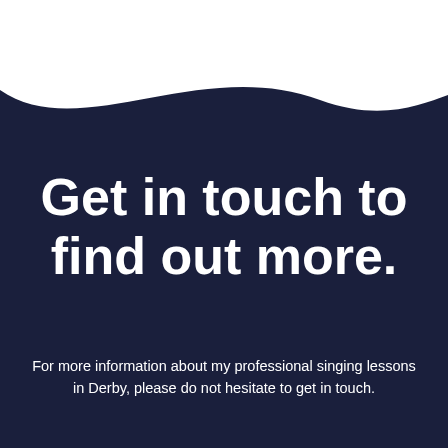Singing Lessons Derby
[Figure (illustration): White wave shape on dark navy background transitioning the header area into the main content section]
Get in touch to find out more.
For more information about my professional singing lessons in Derby, please do not hesitate to get in touch.